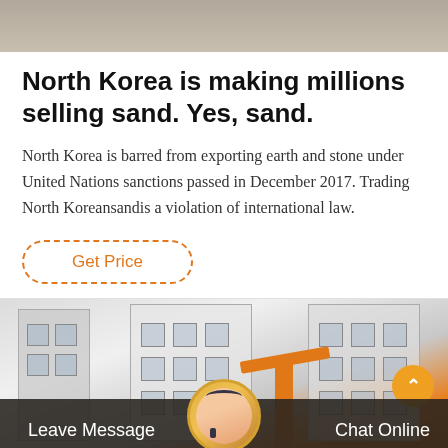[Figure (photo): Top portion of a construction or outdoor scene, grayish-brown tones]
North Korea is making millions selling sand. Yes, sand.
North Korea is barred from exporting earth and stone under United Nations sanctions passed in December 2017. Trading North Koreansandis a violation of international law.
Get Price
[Figure (photo): Industrial buildings with construction equipment and orange crane in the background]
Leave Message   Chat Online